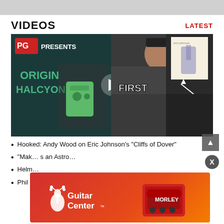VIDEOS
LATEST
[Figure (screenshot): Video thumbnail collage showing three panels: left panel with 'PG PRESENTS / ORIGIN HALCYON' text and a man holding a guitar pedal with a play button overlay; center panel with a person in a cap and 'FIRST LOOK' logo; right panel with Eric Johnson album cover and a hand pointing at it]
Hooked: Andy Wood on Eric Johnson's "Cliffs of Dover"
“Mak… s an Astro…
Helm…
Phil C… ur age
[Figure (logo): Guitar Center advertisement banner with Guitar Center logo on red/orange background and a red guitar pedal (Morley) on the right side]